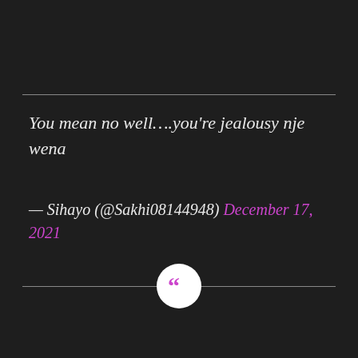You mean no well….you're jealousy nje wena
— Sihayo (@Sakhi08144948) December 17, 2021
[Figure (illustration): Pink quotation mark icon inside a white circle, centered on a horizontal dividing line]